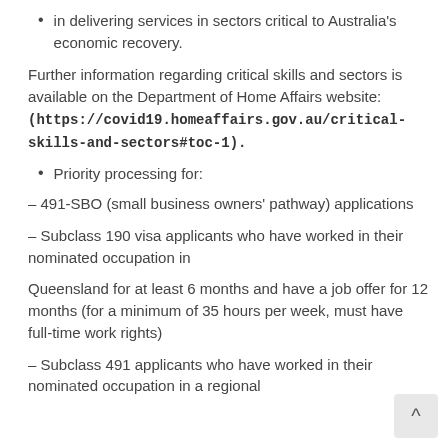in delivering services in sectors critical to Australia's economic recovery.
Further information regarding critical skills and sectors is available on the Department of Home Affairs website: (https://covid19.homeaffairs.gov.au/critical-skills-and-sectors#toc-1).
Priority processing for:
– 491-SBO (small business owners' pathway) applications
– Subclass 190 visa applicants who have worked in their nominated occupation in
Queensland for at least 6 months and have a job offer for 12 months (for a minimum of 35 hours per week, must have full-time work rights)
– Subclass 491 applicants who have worked in their nominated occupation in a regional